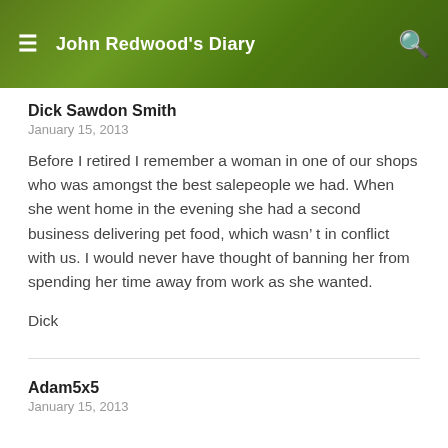John Redwood's Diary
Dick Sawdon Smith
January 15, 2013
Before I retired I remember a woman in one of our shops who was amongst the best salepeople we had. When she went home in the evening she had a second business delivering pet food, which wasn’ t in conflict with us. I would never have thought of banning her from spending her time away from work as she wanted.
Dick
Adam5x5
January 15, 2013